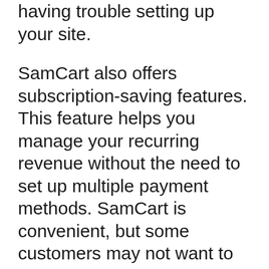having trouble setting up your site.
SamCart also offers subscription-saving features. This feature helps you manage your recurring revenue without the need to set up multiple payment methods. SamCart is convenient, but some customers may not want to pay. They can request chargebacks and cancel their credit cards. This can result in a loss of recurring income. By adding a subscription saver, customers can pay what they want instead of paying you for each one-time purchase.
As a result, it is important to understand the pricing plan for SamCart before signing up for a plan. SamCart branding is included on the cheapest plan. But this does not mean